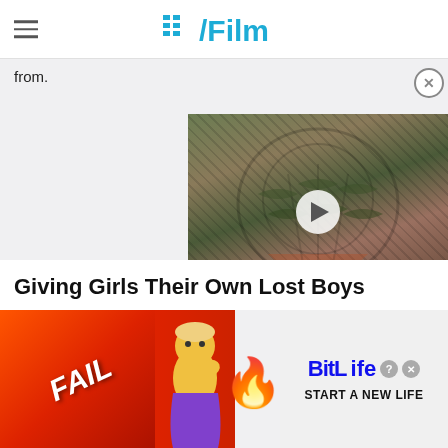≡  /Film
from.
[Figure (screenshot): Video thumbnail showing a creature/monster character from a film, with a play button overlay. Top-right close (X) button visible.]
Giving Girls Their Own Lost Boys
[Figure (screenshot): BitLife advertisement banner with FAIL text, animated character, fire emoji, and 'START A NEW LIFE' call to action on red/white background.]